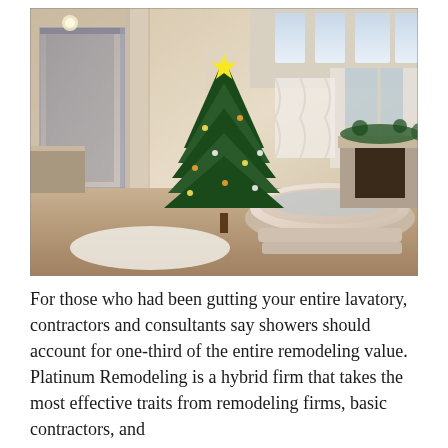[Figure (photo): Interior photo of a luxurious bathroom featuring a large circular jacuzzi tub on a raised platform, a decorated Christmas tree in the center, glass shower enclosure on the left, tall windows with white curtains, a fireplace with greenery decorations on the right, and fluffy white rugs on the floor.]
For those who had been gutting your entire lavatory, contractors and consultants say showers should account for one-third of the entire remodeling value. Platinum Remodeling is a hybrid firm that takes the most effective traits from remodeling firms, basic contractors, and